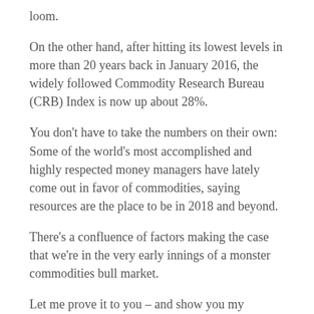loom.
On the other hand, after hitting its lowest levels in more than 20 years back in January 2016, the widely followed Commodity Research Bureau (CRB) Index is now up about 28%.
You don't have to take the numbers on their own: Some of the world's most accomplished and highly respected money managers have lately come out in favor of commodities, saying resources are the place to be in 2018 and beyond.
There's a confluence of factors making the case that we're in the very early innings of a monster commodities bull market.
Let me prove it to you – and show you my favorite way to cash in on the developing supercycle…
This Powerful Rally Has Been Heating Up by the Day
On Feb. 14 – Valentine's Day, no less – just over a month ago, it